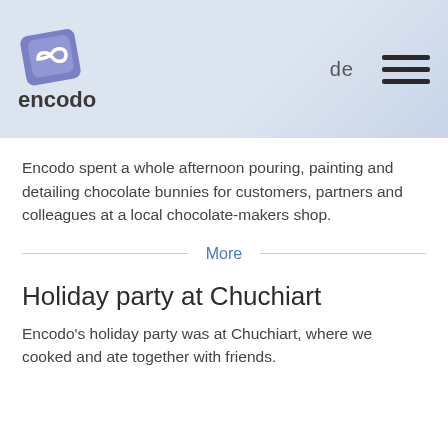[Figure (logo): Encodo logo: blue/purple rhombus icon with swirl above the word 'encodo' in dark gray, plus 'de' language selector and hamburger menu icon]
Encodo spent a whole afternoon pouring, painting and detailing chocolate bunnies for customers, partners and colleagues at a local chocolate-makers shop.
More
Holiday party at Chuchiart
Encodo's holiday party was at Chuchiart, where we cooked and ate together with friends.